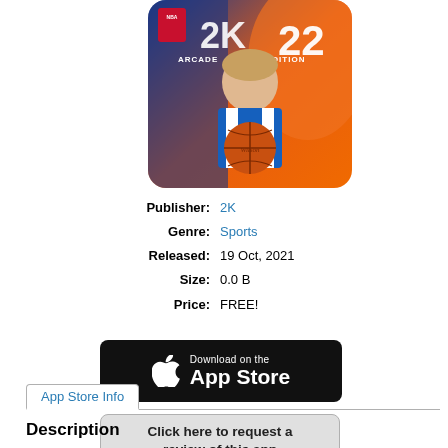[Figure (screenshot): NBA 2K22 Arcade Edition game cover art showing a basketball player in a white jersey holding a basketball, with orange/blue abstract background. Text shows 'NBA 2K22 ARCADE EDITION'.]
Publisher: 2K
Genre: Sports
Released: 19 Oct, 2021
Size: 0.0 B
Price: FREE!
[Figure (screenshot): Download on the App Store button (black rounded rectangle with Apple logo)]
[Figure (screenshot): Click here to request a review of this app button (light gray rounded rectangle)]
App Store Info
Description